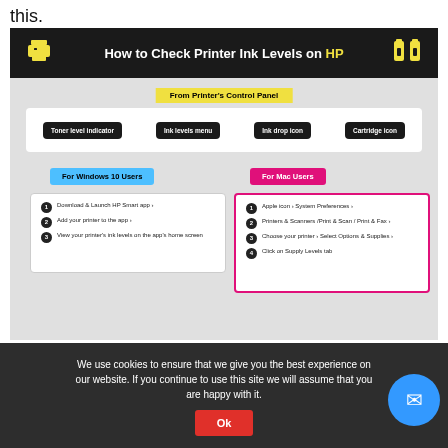this.
[Figure (infographic): Infographic titled 'How to Check Printer Ink Levels on HP' with sections: From Printer's Control Panel (Toner level indicator, Ink levels menu, Ink drop icon, Cartridge icon), For Windows 10 Users (3 steps), For Mac Users (4 steps)]
From Your Printer’s Control Panel
We use cookies to ensure that we give you the best experience on our website. If you continue to use this site we will assume that you are happy with it.